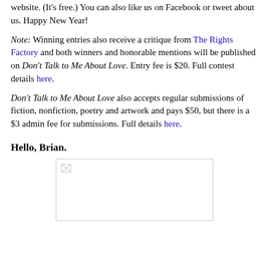website. (It's free.) You can also like us on Facebook or tweet about us. Happy New Year!
Note: Winning entries also receive a critique from The Rights Factory and both winners and honorable mentions will be published on Don't Talk to Me About Love. Entry fee is $20. Full contest details here.
Don't Talk to Me About Love also accepts regular submissions of fiction, nonfiction, poetry and artwork and pays $50, but there is a $3 admin fee for submissions. Full details here.
Hello, Brian.
[Figure (photo): A placeholder image box with a small broken image icon in the top-left corner.]